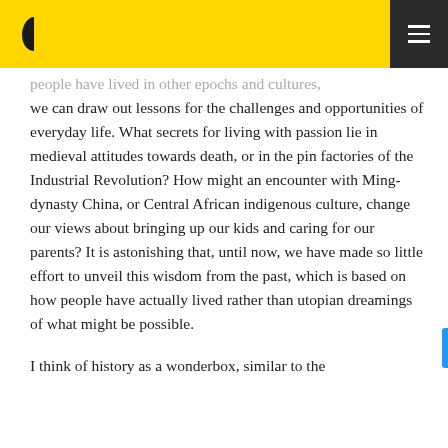[Logo] [Hamburger menu]
people have lived in other epochs and cultures, we can draw out lessons for the challenges and opportunities of everyday life. What secrets for living with passion lie in medieval attitudes towards death, or in the pin factories of the Industrial Revolution? How might an encounter with Ming-dynasty China, or Central African indigenous culture, change our views about bringing up our kids and caring for our parents? It is astonishing that, until now, we have made so little effort to unveil this wisdom from the past, which is based on how people have actually lived rather than utopian dreamings of what might be possible.
I think of history as a wonderbox, similar to the